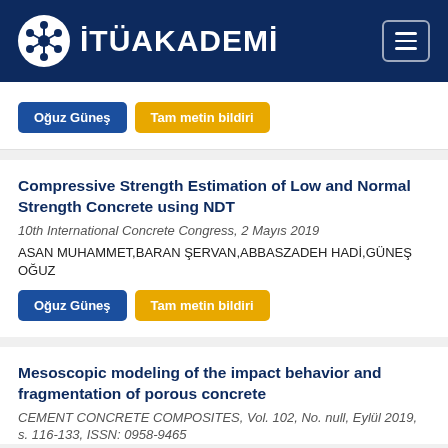İTÜAKADEMİ
Oğuz Güneş | Tam metin bildiri
Compressive Strength Estimation of Low and Normal Strength Concrete using NDT
10th International Concrete Congress, 2 Mayıs 2019
ASAN MUHAMMET,BARAN ŞERVAN,ABBASZADEH HADİ,GÜNEŞ OĞUZ
Oğuz Güneş | Tam metin bildiri
Mesoscopic modeling of the impact behavior and fragmentation of porous concrete
CEMENT CONCRETE COMPOSITES, Vol. 102, No. null, Eylül 2019, s. 116-133, ISSN: 0958-9465